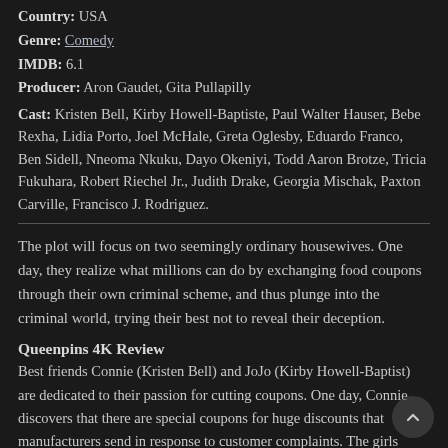Country: USA
Genre: Comedy
IMDB: 6.1
Producer: Aron Gaudet, Gita Pullapilly
Cast: Kristen Bell, Kirby Howell-Baptiste, Paul Walter Hauser, Bebe Rexha, Lidia Porto, Joel McHale, Greta Oglesby, Eduardo Franco, Ben Sidell, Nneoma Nkuku, Dayo Okeniyi, Todd Aaron Brotze, Tricia Fukuhara, Robert Riechel Jr., Judith Drake, Georgia Mischak, Paxton Carville, Francisco J. Rodriguez.
The plot will focus on two seemingly ordinary housewives. One day, they realize what millions can do by exchanging food coupons through their own criminal scheme, and thus plunge into the criminal world, trying their best not to reveal their deception.
Queenpins 4K Review
Best friends Connie (Kristen Bell) and JoJo (Kirby Howell-Baptist) are dedicated to their passion for cutting coupons. One day, Connie discovers that there are special coupons for huge discounts that manufacturers send in response to customer complaints. The girls decide to build their business on this, reselling everything on their website. However, their machinations soon find themselves in the field of vision of a determined